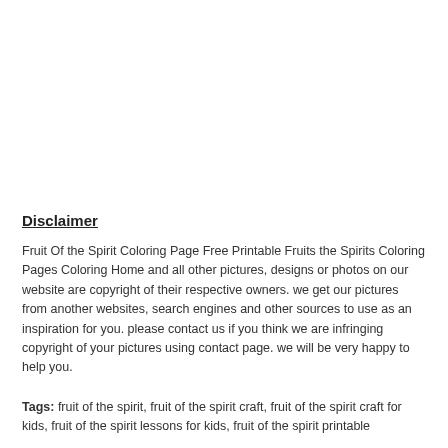Disclaimer
Fruit Of the Spirit Coloring Page Free Printable Fruits the Spirits Coloring Pages Coloring Home and all other pictures, designs or photos on our website are copyright of their respective owners. we get our pictures from another websites, search engines and other sources to use as an inspiration for you. please contact us if you think we are infringing copyright of your pictures using contact page. we will be very happy to help you.
Tags: fruit of the spirit, fruit of the spirit craft, fruit of the spirit craft for kids, fruit of the spirit lessons for kids, fruit of the spirit printable